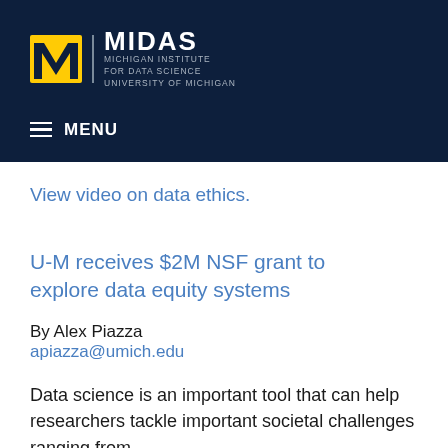[Figure (logo): MIDAS Michigan Institute for Data Science, University of Michigan logo with block M]
MENU
View video on data ethics.
U-M receives $2M NSF grant to explore data equity systems
By Alex Piazza
apisazza@umich.edu
Data science is an important tool that can help researchers tackle important societal challenges ranging from